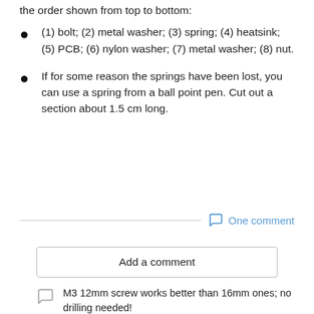the order shown from top to bottom:
(1) bolt; (2) metal washer; (3) spring; (4) heatsink; (5) PCB; (6) nylon washer; (7) metal washer; (8) nut.
If for some reason the springs have been lost, you can use a spring from a ball point pen. Cut out a section about 1.5 cm long.
One comment
Add a comment
M3 12mm screw works better than 16mm ones; no drilling needed!